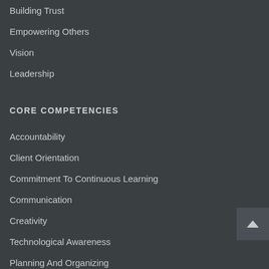Building Trust
Empowering Others
Vision
Leadership
CORE COMPETENCIES
Accountability
Client Orientation
Commitment To Continuous Learning
Communication
Creativity
Technological Awareness
Planning And Organizing
Teamwork